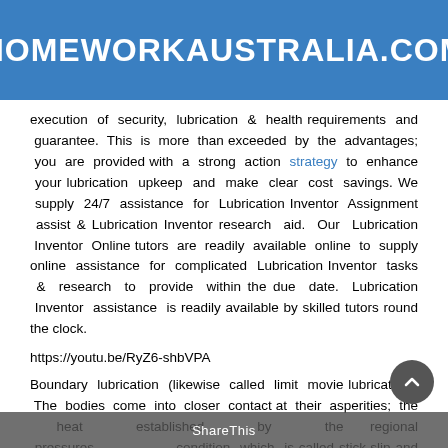HOMEWORKAUSTRALIA.COM
execution of security, lubrication & health requirements and guarantee. This is more than exceeded by the advantages; you are provided with a strong action strategy to enhance your lubrication upkeep and make clear cost savings. We supply 24/7 assistance for Lubrication Inventor Assignment assist & Lubrication Inventor research aid. Our Lubrication Inventor Online tutors are readily available online to supply online assistance for complicated Lubrication Inventor tasks & research to provide within the due date. Lubrication Inventor assistance is readily available by skilled tutors round the clock.
https://youtu.be/RyZ6-shbVPA
Boundary lubrication (likewise called limit movie lubrication): The bodies come into closer contact at their asperities; the heat established by the regional pressures condition which is called stick-slip and some asperities break off. A